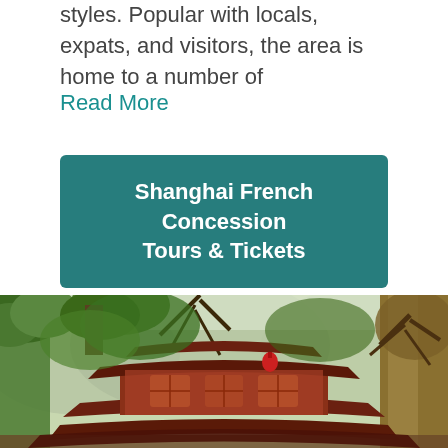styles. Popular with locals, expats, and visitors, the area is home to a number of
Read More
Shanghai French Concession Tours & Tickets
[Figure (photo): Traditional Chinese pagoda-style building with curved red roofs and ornate wooden detailing, surrounded by lush green trees and misty mountains in the background.]